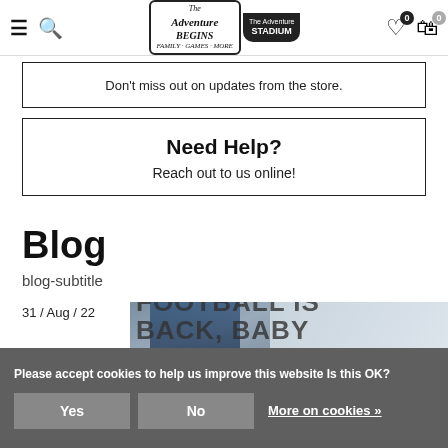The Adventure Begins | The Adventure Stadium — navigation header with hamburger menu, search, logo, wishlist (0), cart (0)
Don't miss out on updates from the store.
Need Help?
Reach out to us online!
Blog
blog-subtitle
31 / Aug / 22
[Figure (photo): Football player in blue and white uniform with helmet, action shot in winter/outdoor setting. Large text overlay: FOOTBALL IS BACK, BABY]
Please accept cookies to help us improve this website Is this OK?  Yes  No  More on cookies »